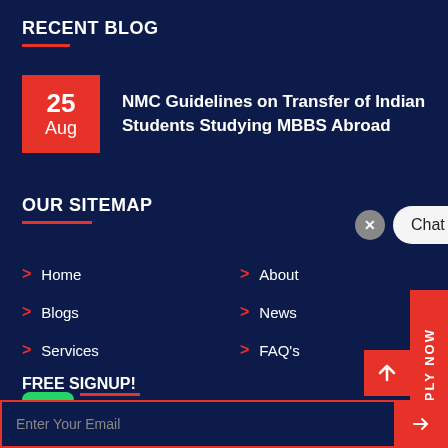RECENT BLOG
25 Aug — NMC Guidelines on Transfer of Indian Students Studying MBBS Abroad
OUR SITEMAP
> Home
> About
> Blogs
> News
> Services
> FAQ's
FREE SIGNUP!
Sign Up with us to know the latest details for studying Abroad
Enter Your Email